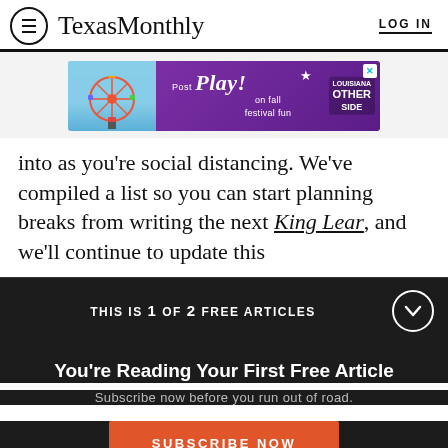Texas Monthly  LOG IN
[Figure (photo): Advertisement banner: Post Play! on fall festival fun, Louisian Other Side, with ferris wheel image on purple and blue background]
into as you're social distancing. We've compiled a list so you can start planning breaks from writing the next King Lear, and we'll continue to update this
THIS IS 1 OF 2 FREE ARTICLES
You're Reading Your First Free Article
Subscribe now before you run out of road.
SUBSCRIBE NOW
Already a subscriber? Log in